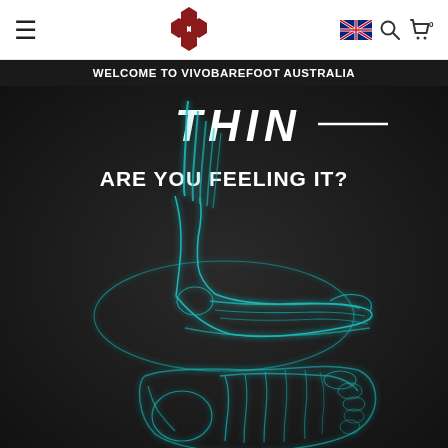Navigation bar with hamburger menu, Vivobarefoot logo, Australian flag, search icon, and cart icon (0 items)
WELCOME TO VIVOBAREFOOT AUSTRALIA
[Figure (illustration): Dark background hero image showing the word THIN with a horizontal line, text ARE YOU FEELING IT?, and two glowing cyan X-ray style illustrations of a human foot — one showing a side profile with nerve/tendon lines extending upward, and one showing a bottom/plantar view of the foot bones and anatomy.]